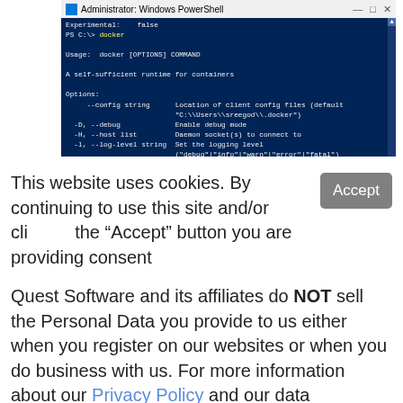[Figure (screenshot): Administrator: Windows PowerShell terminal window showing docker command output. PS C:\> docker, Usage: docker [OPTIONS] COMMAND, A self-sufficient runtime for containers, Options: --config string (Location of client config files), -D --debug (Enable debug mode), -H --host list (Daemon socket(s) to connect to), -l --log-level string (Set the logging level)]
This website uses cookies. By continuing to use this site and/or clicking the "Accept" button you are providing consent
Quest Software and its affiliates do NOT sell the Personal Data you provide to us either when you register on our websites or when you do business with us. For more information about our Privacy Policy and our data protection efforts, please visit GDPR-HQ